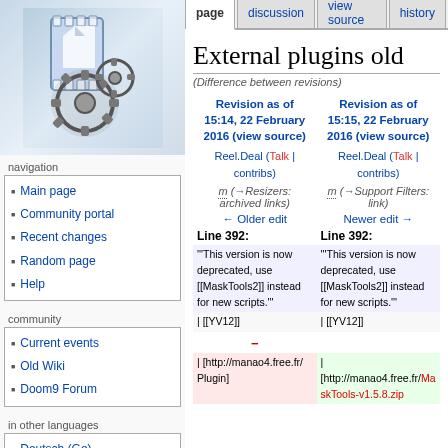[Figure (logo): MediaWiki-style logo with film strip and gears on blue/grey gradient background]
navigation
Main page
Community portal
Recent changes
Random page
Help
community
Current events
Old Wiki
Doom9 Forum
in other languages
Deutsch (Ge)
Español (Es)
Français (Fr)
日本語 (Ja)
External plugins old
(Difference between revisions)
| Revision as of 15:14, 22 February 2016 (view source) | Revision as of 15:15, 22 February 2016 (view source) |
| --- | --- |
| Reel.Deal (Talk | contribs) | Reel.Deal (Talk | contribs) |
| m (→Resizers: archived links) | m (→Support Filters: link) |
| ← Older edit | Newer edit → |
| Line 392: | Line 392: |
| """This version is now deprecated, use [[MaskTools2]] instead for new scripts.""" | """This version is now deprecated, use [[MaskTools2]] instead for new scripts.""" |
| | [[YV12]] | | [[YV12]] |
| | [http://manao4.free.fr/ Plugin] | |
[http://manao4.free.fr/MaskTools-v1.5.8.zip |